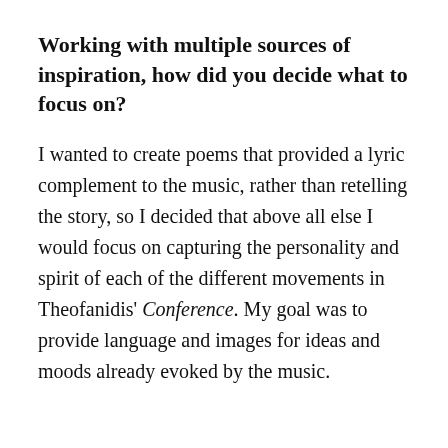Working with multiple sources of inspiration, how did you decide what to focus on?
I wanted to create poems that provided a lyric complement to the music, rather than retelling the story, so I decided that above all else I would focus on capturing the personality and spirit of each of the different movements in Theofanidis' Conference. My goal was to provide language and images for ideas and moods already evoked by the music.